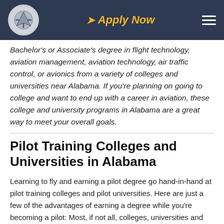Apply Now
Bachelor's or Associate's degree in flight technology, aviation management, aviation technology, air traffic control, or avionics from a variety of colleges and universities near Alabama. If you're planning on going to college and want to end up with a career in aviation, these college and university programs in Alabama are a great way to meet your overall goals.
Pilot Training Colleges and Universities in Alabama
Learning to fly and earning a pilot degree go hand-in-hand at pilot training colleges and pilot universities. Here are just a few of the advantages of earning a degree while you're becoming a pilot: Most, if not all, colleges, universities and flight academies in Alabama